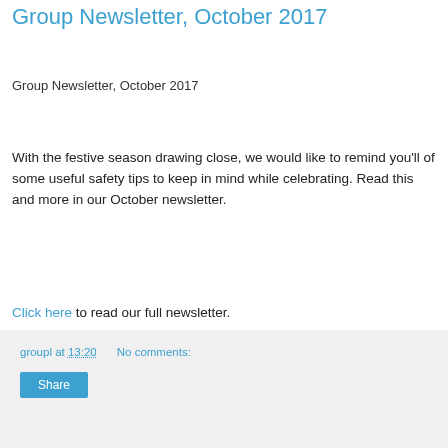Group Newsletter, October 2017
Group Newsletter, October 2017
With the festive season drawing close, we would like to remind you'll of some useful safety tips to keep in mind while celebrating. Read this and more in our October newsletter.
Click here to read our full newsletter.
groupl at 13:20    No comments:    Share